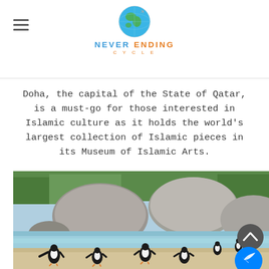[Figure (logo): Never Ending Cycle logo with globe icon, hamburger menu icon on left]
Doha, the capital of the State of Qatar, is a must-go for those interested in Islamic culture as it holds the world's largest collection of Islamic pieces in its Museum of Islamic Arts.
[Figure (photo): Photo of penguins on a beach with large boulders in the background and shallow blue water. Several African penguins are walking on the sandy shore. A scroll-to-top button and a Messenger button are overlaid on the bottom-right corner.]